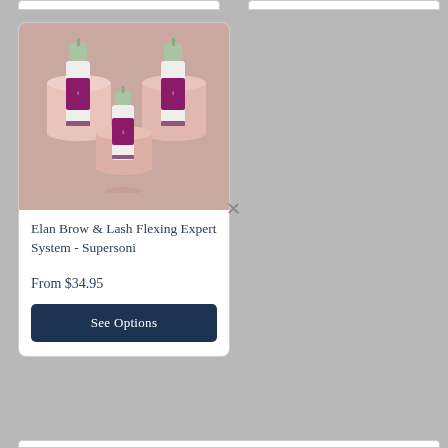[Figure (photo): Three cosmetic pump bottles with purple/magenta labels and green caps, arranged on pink cylindrical pedestals against a pink background.]
Elan Brow & Lash Flexing Expert System - Supersoni
From $34.95
See Options